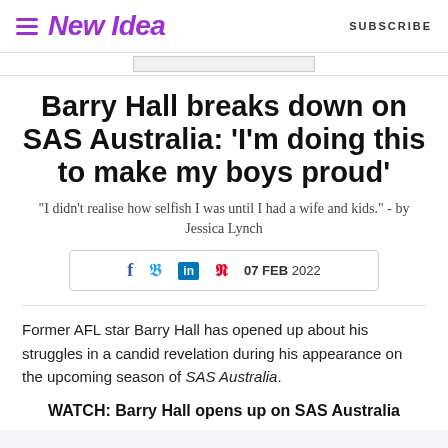New Idea | SUBSCRIBE
Barry Hall breaks down on SAS Australia: 'I'm doing this to make my boys proud'
"I didn't realise how selfish I was until I had a wife and kids." - by Jessica Lynch
07 FEB 2022
Former AFL star Barry Hall has opened up about his struggles in a candid revelation during his appearance on the upcoming season of SAS Australia.
WATCH: Barry Hall opens up on SAS Australia